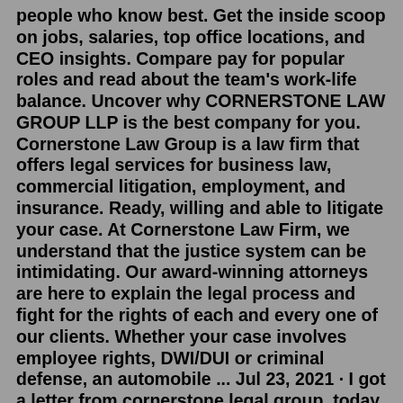people who know best. Get the inside scoop on jobs, salaries, top office locations, and CEO insights. Compare pay for popular roles and read about the team's work-life balance. Uncover why CORNERSTONE LAW GROUP LLP is the best company for you. Cornerstone Law Group is a law firm that offers legal services for business law, commercial litigation, employment, and insurance. Ready, willing and able to litigate your case. At Cornerstone Law Firm, we understand that the justice system can be intimidating. Our award-winning attorneys are here to explain the legal process and fight for the rights of each and every one of our clients. Whether your case involves employee rights, DWI/DUI or criminal defense, an automobile ... Jul 23, 2021 · I got a letter from cornerstone legal group, today (7-23-21) saying i owe a payday loan for $1047 from check n go in Idaho, i'm now in California , which is from 12 yrs ago and they are threatening to send me to court for non payment, it also mentions with potential fraudulent activity, and with ...